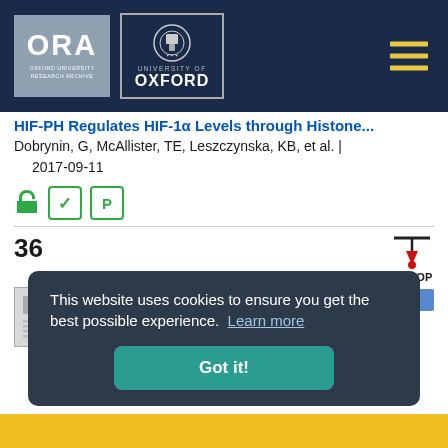[Figure (logo): ORA Oxford University Research Archive logo and University of Oxford seal logo on dark navy header with hamburger menu icon]
HIF-PH Regulates HIF-1α Levels through Histone ...
Dobrynin, G, McAllister, TE, Leszczynska, KB, et al. | 2017-09-11
[Figure (infographic): Open access icon, peer review checkmark icon, and preprint icon]
36
[Figure (infographic): Pin/To Top button icon in top right]
[Figure (screenshot): Article thumbnail image - small document preview]
J
This website uses cookies to ensure you get the best possible experience. Learn more
Got it!